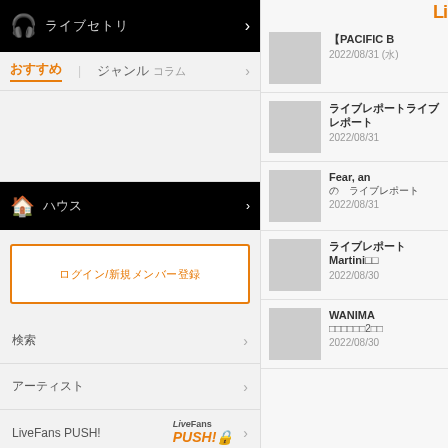ライブセトリ
おすすめ　ジャンル　コラム
ハウス
ログイン/新規メンバー登録
検索
アーティスト
LiveFans PUSH!
バーチャルライブ
ライブハウス
ライブ
【PACIFIC B  2022/08/31 (水)
ライブレポートライブレポート  2022/08/31
Fear, an  の ライブレポート  2022/08/31
ライブレポートMartini□□  2022/08/30
WANIMA  □□□□□□2□□  2022/08/30